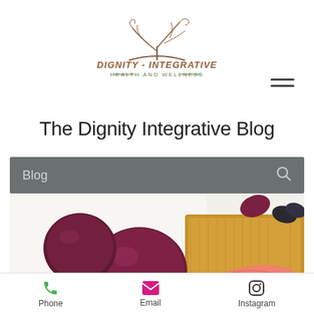[Figure (logo): Dignity Integrative Health and Wellness logo with a stylized tree/bird shape above text]
The Dignity Integrative Blog
[Figure (screenshot): Search bar with 'Blog' label and search icon on dark gray background]
[Figure (photo): Food photo showing red onions on white surface and salmon on wooden cutting board]
[Figure (infographic): Bottom navigation bar with Phone (green phone icon), Email (pink envelope icon), Instagram (black Instagram icon)]